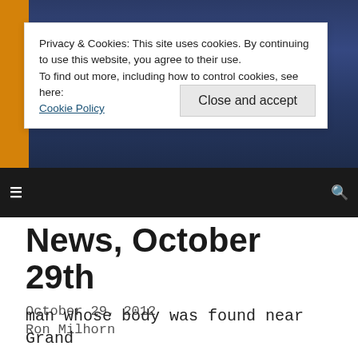Privacy & Cookies: This site uses cookies. By continuing to use this website, you agree to their use.
To find out more, including how to control cookies, see here:
Cookie Policy
Close and accept
News, October 29th
October 29, 2012
Ron Milhorn
man whose body was found near Grand